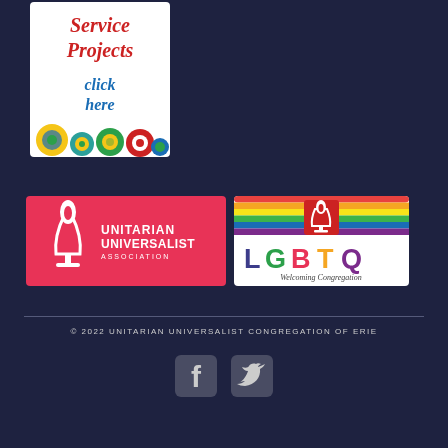[Figure (logo): Service Projects click here banner with colorful circles at bottom]
[Figure (logo): Unitarian Universalist Association logo on red/pink background]
[Figure (logo): LGBTQ Welcoming Congregation logo with rainbow stripes and UU chalice]
© 2022 UNITARIAN UNIVERSALIST CONGREGATION OF ERIE
[Figure (logo): Facebook and Twitter social media icons]